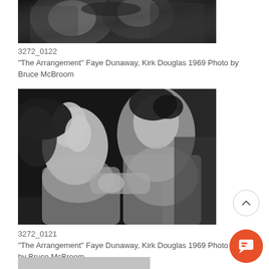[Figure (photo): Black and white film still showing two people in close contact, partial view cropped at top]
3272_0122
"The Arrangement" Faye Dunaway, Kirk Douglas 1969 Photo by Bruce McBroom
[Figure (photo): Black and white film still showing Faye Dunaway leaning back with Kirk Douglas facing her shirtless, from The Arrangement 1969]
3272_0121
"The Arrangement" Faye Dunaway, Kirk Douglas 1969 Photo by Bruce McBroom
[Figure (photo): Partial black and white photo visible at bottom of page]